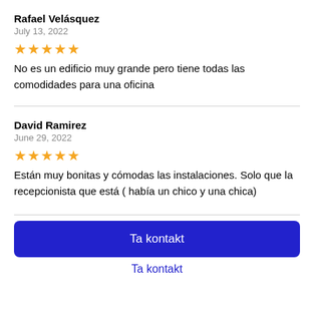Rafael Velásquez
July 13, 2022
[Figure (other): 4 yellow stars rating]
No es un edificio muy grande pero tiene todas las comodidades para una oficina
David Ramirez
June 29, 2022
[Figure (other): 4 yellow stars rating]
Están muy bonitas y cómodas las instalaciones. Solo que la recepcionista que está ( había un chico y una chica)
Ta kontakt
Ta kontakt